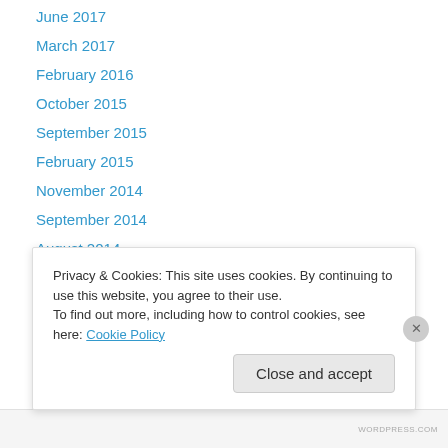June 2017
March 2017
February 2016
October 2015
September 2015
February 2015
November 2014
September 2014
August 2014
July 2014
June 2014
May 2014
April 2014
Privacy & Cookies: This site uses cookies. By continuing to use this website, you agree to their use. To find out more, including how to control cookies, see here: Cookie Policy
Close and accept